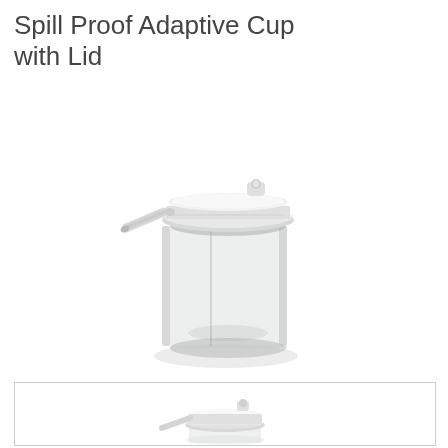Spill Proof Adaptive Cup with Lid
[Figure (photo): A spill proof adaptive cup with a white lid featuring a flip-top straw holder and a clear/translucent cylindrical body. A white straw extends from the side of the lid. The lid has a small locking tab on top.]
[Figure (photo): Thumbnail view of the same spill proof adaptive cup showing the lid and straw from a slightly different angle, partially cropped at the bottom of the page.]